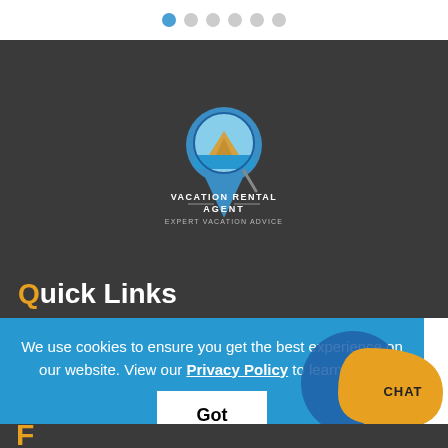[Figure (other): Pagination dots row — one blue active dot followed by five grey dots]
[Figure (logo): Vacation Rental Agent logo: map pin icon with mountain/lake scene inside, blue and gold colors, text reads VACATION RENTAL AGENT — EXPERT VACATION ADVICE]
Quick Links
We use cookies to ensure you get the best experience on our website. View our Privacy Policy to learn more.
Got it!
[Figure (illustration): Chat bubble: blue circle with gold speech bubble containing text CHAT]
Follow...